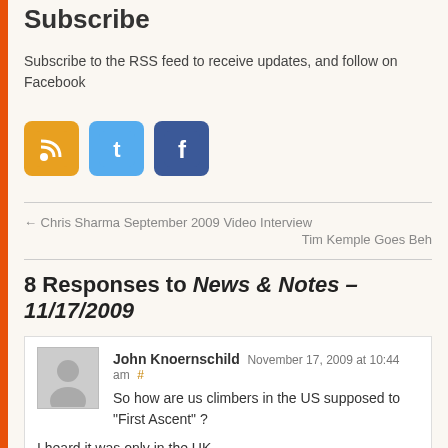Subscribe
Subscribe to the RSS feed to receive updates, and follow on Facebook
[Figure (illustration): Three social media icons: RSS (orange), Twitter (blue with bird), Facebook (blue with f)]
← Chris Sharma September 2009 Video Interview
Tim Kemple Goes Beh
8 Responses to News & Notes – 11/17/2009
John Knoernschild November 17, 2009 at 10:44 am #
So how are us climbers in the US supposed to "First Ascent" ?
I heard it was only in the UK.
Rating: 0 (from 0 votes)